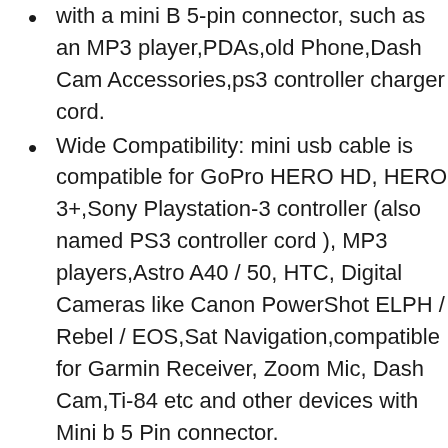with a mini B 5-pin connector, such as an MP3 player,PDAs,old Phone,Dash Cam Accessories,ps3 controller charger cord.
Wide Compatibility: mini usb cable is compatible for GoPro HERO HD, HERO 3+,Sony Playstation-3 controller (also named PS3 controller cord ), MP3 players,Astro A40 / 50, HTC, Digital Cameras like Canon PowerShot ELPH / Rebel / EOS,Sat Navigation,compatible for Garmin Receiver, Zoom Mic, Dash Cam,Ti-84 etc and other devices with Mini b 5 Pin connector.
High Speed Transfer: This Type A Male to